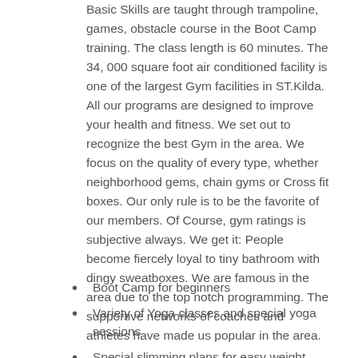Basic Skills are taught through trampoline, games, obstacle course in the Boot Camp training. The class length is 60 minutes. The 34, 000 square foot air conditioned facility is one of the largest Gym facilities in ST.Kilda. All our programs are designed to improve your health and fitness. We set out to recognize the best Gym in the area. We focus on the quality of every type, whether neighborhood gems, chain gyms or Cross fit boxes. Our only rule is to be the favorite of our members. Of Course, gym ratings is subjective always. We get it: People become fiercely loyal to tiny bathroom with dingy sweatboxes. We are famous in the area due to the top notch programming. The supportive networks of coaches and athletes have made us popular in the area.
Boot Camp for beginners
Variety of Yoga classes and special yoga sessions
Special slimming plans for easy weight loss